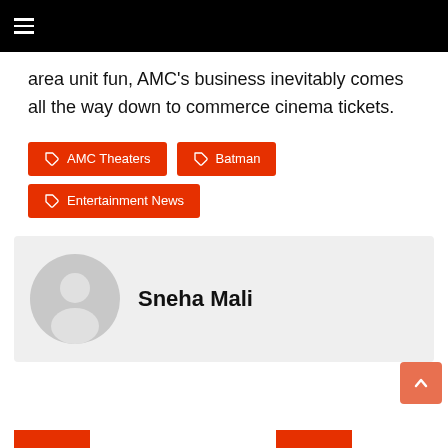Navigation bar with hamburger menu
area unit fun, AMC’s business inevitably comes all the way down to commerce cinema tickets.
AMC Theaters
Batman
Entertainment News
Sneha Mali